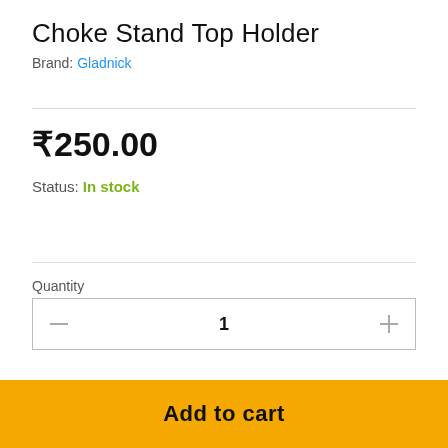Choke Stand Top Holder
Brand: Gladnick
₹250.00
Status: In stock
Quantity
1
Compare
Ask a Question
Add to cart